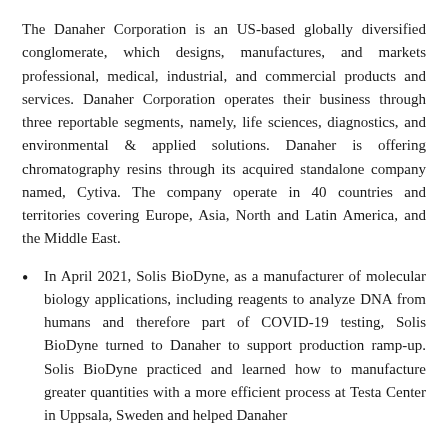The Danaher Corporation is an US-based globally diversified conglomerate, which designs, manufactures, and markets professional, medical, industrial, and commercial products and services. Danaher Corporation operates their business through three reportable segments, namely, life sciences, diagnostics, and environmental & applied solutions. Danaher is offering chromatography resins through its acquired standalone company named, Cytiva. The company operate in 40 countries and territories covering Europe, Asia, North and Latin America, and the Middle East.
In April 2021, Solis BioDyne, as a manufacturer of molecular biology applications, including reagents to analyze DNA from humans and therefore part of COVID-19 testing, Solis BioDyne turned to Danaher to support production ramp-up. Solis BioDyne practiced and learned how to manufacture greater quantities with a more efficient process at Testa Center in Uppsala, Sweden and helped Danaher